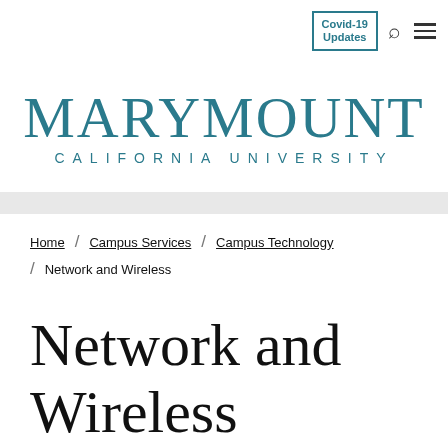Covid-19 Updates
[Figure (logo): Marymount California University logo in teal]
Home / Campus Services / Campus Technology / Network and Wireless
Network and Wireless